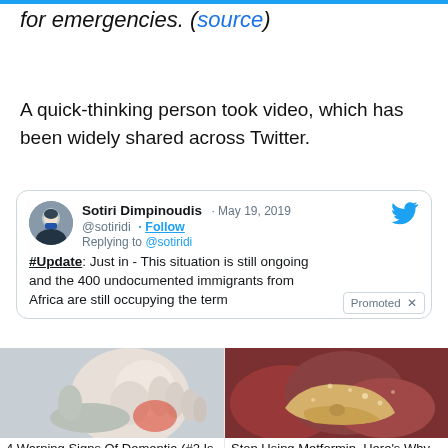for emergencies. (source)
A quick-thinking person took video, which has been widely shared across Twitter.
[Figure (screenshot): Embedded tweet from Sotiri Dimpinoudis dated May 19, 2019 with handle @sotiridi, replying to @sotiridi. Tweet text: #Update: Just in - This situation is still ongoing and the 400 undocumented immigrants from Africa are still occupying the term [cut off]. A Promoted badge partially overlaps the tweet.]
[Figure (photo): Advertisement image showing a hand with red inflammation at the wrist/palm area, for an article about warning signs of dementia.]
4 Warning Signs Of Dementia (#2 Is Scary)
17,179
[Figure (photo): Advertisement image showing internal organ tissue, reddish-brown organ structures, for an article about stopping Metformin use.]
Stop Using Metformin. Here's Why
181,046